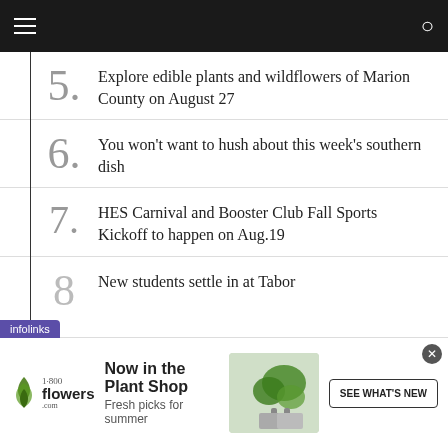Navigation header bar
5. Explore edible plants and wildflowers of Marion County on August 27
6. You won't want to hush about this week's southern dish
7. HES Carnival and Booster Club Fall Sports Kickoff to happen on Aug.19
8. New students settle in at Tabor
[Figure (screenshot): 1-800-flowers.com advertisement banner: 'Now in the Plant Shop - Fresh picks for summer' with SEE WHAT'S NEW button and plant photo]